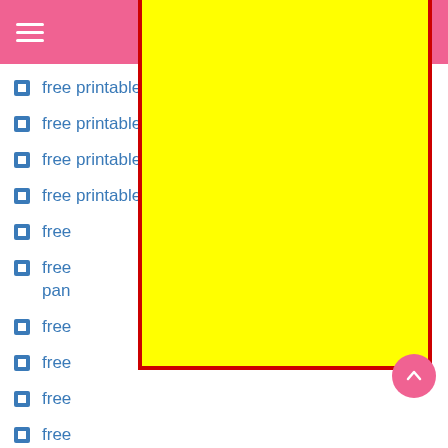DARK MODE [toggle] [search]
free printable ryan coloring pages
free printable ryan red titan coloring pages
free printable ryan toy… coloring pages
free printable ryan toysreview coloring pages
free … ages
free … o pan…
free
free
free
free
free printable skye paw patrol coloring pages
[Figure (screenshot): Close button (red outline pill with 'close' text in red on white) overlaid on the page, with a large yellow rectangle with red border covering the lower portion of the list content (advertisement overlay). A pink circular scroll-to-top arrow button is at bottom right.]